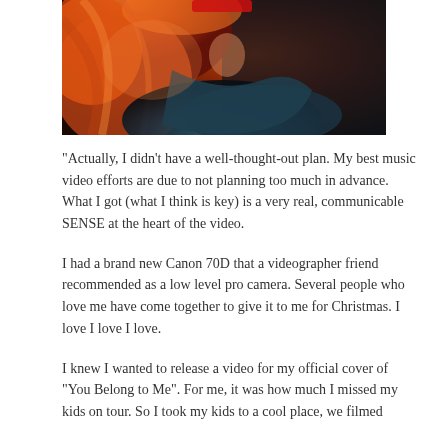[Figure (photo): A partially visible photo of a person with long reddish-blonde hair wearing a leather jacket, photographed under warm orange-red stage lighting.]
“Actually, I didn't have a well-thought-out plan. My best music video efforts are due to not planning too much in advance. What I got (what I think is key) is a very real, communicable SENSE at the heart of the video.
I had a brand new Canon 70D that a videographer friend recommended as a low level pro camera. Several people who love me have come together to give it to me for Christmas. I love I love I love.
I knew I wanted to release a video for my official cover of “You Belong to Me”. For me, it was how much I missed my kids on tour. So I took my kids to a cool place, we filmed